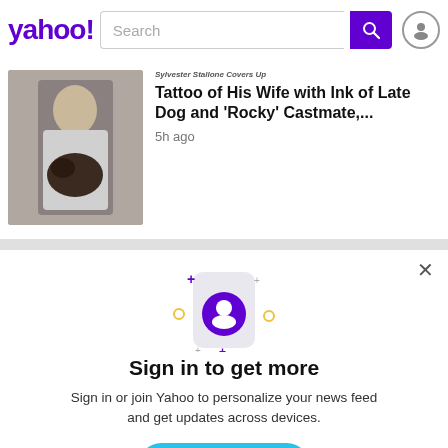yahoo! Search
[Figure (screenshot): Yahoo news article thumbnail showing a man with tattoos holding a black dog]
Sylvester Stallone Covers Up Tattoo of His Wife with Ink of Late Dog and 'Rocky' Castmate,...
5h ago
[Figure (illustration): Sign in modal with phone icon showing user avatar, sparkles and decorative dots]
Sign in to get more
Sign in or join Yahoo to personalize your news feed and get updates across devices.
Sign in
Sign up